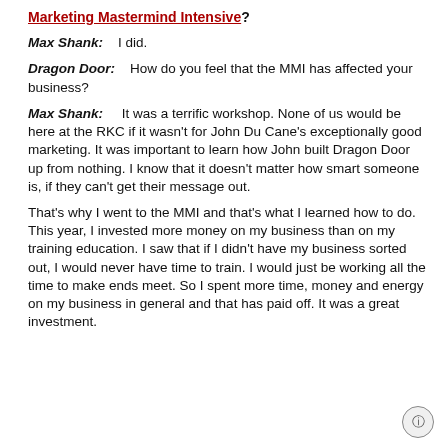Marketing Mastermind Intensive?
Max Shank:    I did.
Dragon Door:    How do you feel that the MMI has affected your business?
Max Shank:    It was a terrific workshop. None of us would be here at the RKC if it wasn't for John Du Cane's exceptionally good marketing. It was important to learn how John built Dragon Door up from nothing. I know that it doesn't matter how smart someone is, if they can't get their message out.
That's why I went to the MMI and that's what I learned how to do. This year, I invested more money on my business than on my training education. I saw that if I didn't have my business sorted out, I would never have time to train. I would just be working all the time to make ends meet. So I spent more time, money and energy on my business in general and that has paid off. It was a great investment.